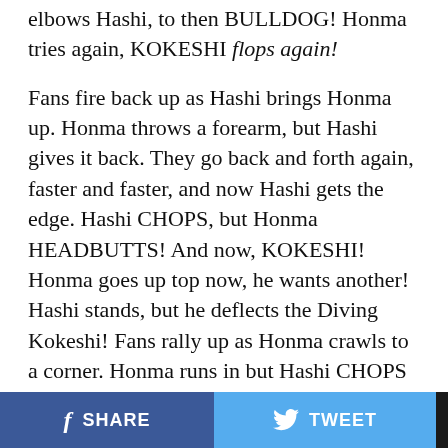elbows Hashi, to then BULLDOG! Honma tries again, KOKESHI flops again!
Fans fire back up as Hashi brings Honma up. Honma throws a forearm, but Hashi gives it back. They go back and forth again, faster and faster, and now Hashi gets the edge. Hashi CHOPS, but Honma HEADBUTTS! And now, KOKESHI! Honma goes up top now, he wants another! Hashi stands, but he deflects the Diving Kokeshi! Fans rally up as Honma crawls to a corner. Honma runs in but Hashi CHOPS him! Honma roars, Hashi CHOPS again! Hashi runs into the corner to CHOP, whip and CHOP again! Mule kick, and Hashi goes up! BLOCKBUSTER! Cover, TWO! Honma is still in this but Hashi fires right up!
Hashi stands Honma back up, full nelson, pump handle,
SHARE   TWEET